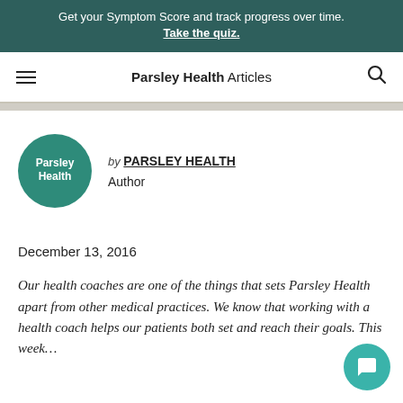Get your Symptom Score and track progress over time. Take the quiz.
Parsley Health Articles
[Figure (logo): Parsley Health circular green logo with white text]
by PARSLEY HEALTH
Author
December 13, 2016
Our health coaches are one of the things that sets Parsley Health apart from other medical practices. We know that working with a health coach helps our patients both set and reach their goals. This week...